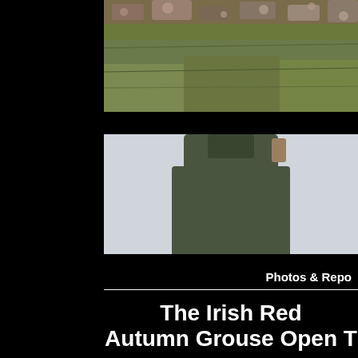[Figure (photo): Top portion of a moorland/heathland scene showing reddish-brown and green heather or grass vegetation against a hillside background, cropped at top of page]
[Figure (photo): A person seen from behind wearing olive/dark green jacket and trousers, standing on a moorland hillside with dry brown grass. A light-colored dog (likely a setter or pointer) is visible to the right on the hillside. Overcast grey sky in background.]
Photos & Repo
The Irish Red
Autumn Grouse Open T